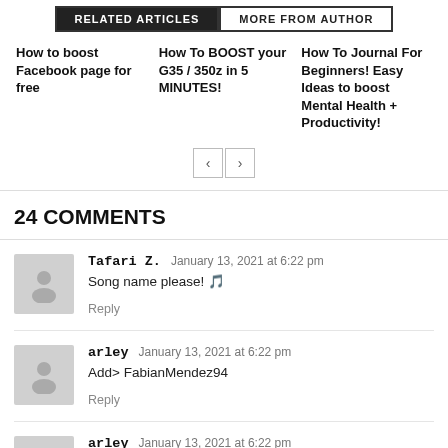RELATED ARTICLES   MORE FROM AUTHOR
How to boost Facebook page for free
How To BOOST your G35 / 350z in 5 MINUTES!
How To Journal For Beginners! Easy Ideas to boost Mental Health + Productivity!
24 COMMENTS
Tafari Z.   January 13, 2021 at 6:22 pm
Song name please! 🎵
Reply
arley   January 13, 2021 at 6:22 pm
Add> FabianMendez94
Reply
arley   January 13, 2021 at 6:22 pm